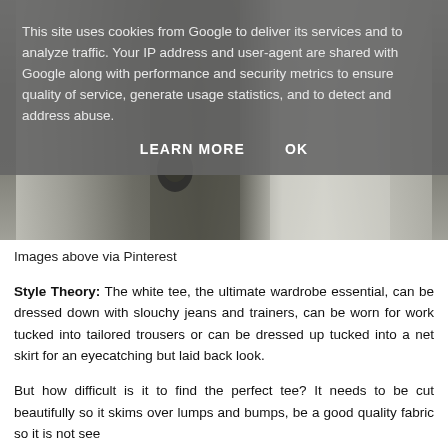[Figure (photo): Partial view of clothing/fashion items, grayish-toned photo showing fabric textures, appears to be a fashion blog image cropped at the top]
This site uses cookies from Google to deliver its services and to analyze traffic. Your IP address and user-agent are shared with Google along with performance and security metrics to ensure quality of service, generate usage statistics, and to detect and address abuse.
LEARN MORE    OK
Images above via Pinterest
Style Theory: The white tee, the ultimate wardrobe essential, can be dressed down with slouchy jeans and trainers, can be worn for work tucked into tailored trousers or can be dressed up tucked into a net skirt for an eyecatching but laid back look.
But how difficult is it to find the perfect tee? It needs to be cut beautifully so it skims over lumps and bumps, be a good quality fabric so it is not see